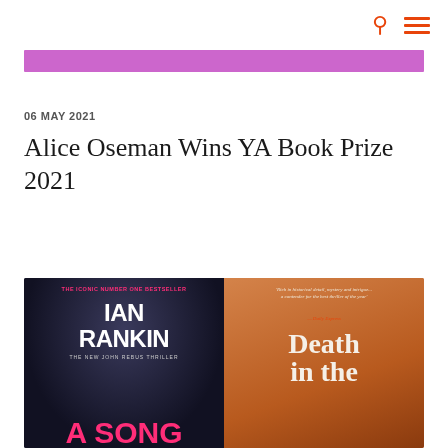06 MAY 2021
Alice Oseman Wins YA Book Prize 2021
[Figure (photo): Two book covers side by side: Left: Ian Rankin 'A Song' (John Rebus Thriller) with pink text on dark background, labelled 'The Iconic Number One Bestseller'. Right: 'Death in the...' with warm orange tones, arch motif, and quote from Daily Express.]